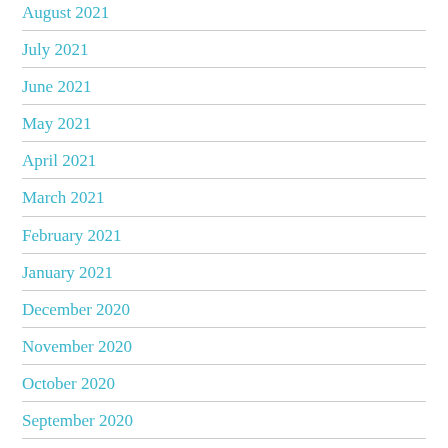August 2021
July 2021
June 2021
May 2021
April 2021
March 2021
February 2021
January 2021
December 2020
November 2020
October 2020
September 2020